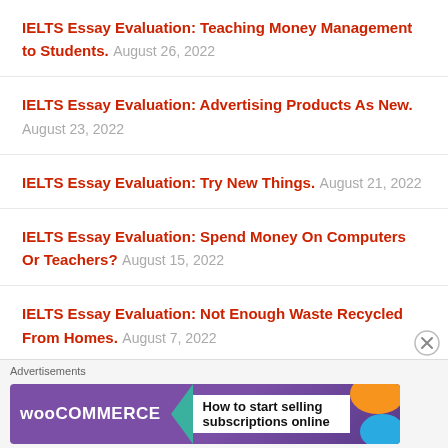IELTS Essay Evaluation: Teaching Money Management to Students. August 26, 2022
IELTS Essay Evaluation: Advertising Products As New. August 23, 2022
IELTS Essay Evaluation: Try New Things. August 21, 2022
IELTS Essay Evaluation: Spend Money On Computers Or Teachers? August 15, 2022
IELTS Essay Evaluation: Not Enough Waste Recycled From Homes. August 7, 2022
IELTS Essay Evaluation: Bullying In Schools. August 5, 2022
[Figure (other): WooCommerce advertisement banner: How to start selling subscriptions online]